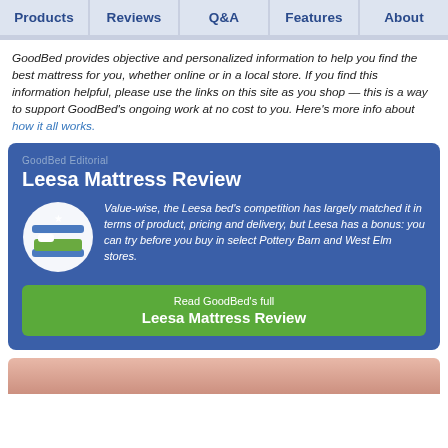Products | Reviews | Q&A | Features | About
GoodBed provides objective and personalized information to help you find the best mattress for you, whether online or in a local store. If you find this information helpful, please use the links on this site as you shop — this is a way to support GoodBed's ongoing work at no cost to you. Here's more info about how it all works.
GoodBed Editorial
Leesa Mattress Review
Value-wise, the Leesa bed's competition has largely matched it in terms of product, pricing and delivery, but Leesa has a bonus: you can try before you buy in select Pottery Barn and West Elm stores.
Read GoodBed's full Leesa Mattress Review
[Figure (photo): Bottom portion of a photo, partially visible, showing a mattress or bedroom scene with warm pink/peach tones]